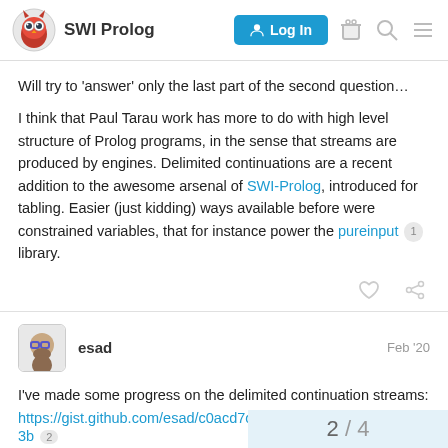SWI Prolog
Will try to 'answer' only the last part of the second question…
I think that Paul Tarau work has more to do with high level structure of Prolog programs, in the sense that streams are produced by engines. Delimited continuations are a recent addition to the awesome arsenal of SWI-Prolog, introduced for tabling. Easier (just kidding) ways available before were constrained variables, that for instance power the pureinput library.
esad  Feb '20
I've made some progress on the delimited continuation streams:
https://gist.github.com/esad/c0acd7cb03e53b
2 / 4